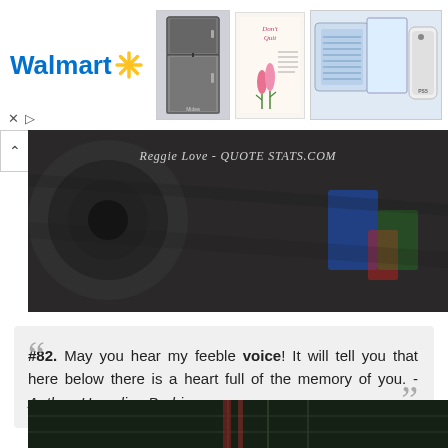[Figure (screenshot): Walmart advertisement banner with logo, product images including refrigerator, motivational poster, air cooler, and PlayStation 5]
[Figure (photo): Dark close-up photo with watermark text 'Reggie Love - QUOTESTATS.COM' in cursive italic]
#82. May you hear my feeble voice! It will tell you that here below there is a heart full of the memory of you. - Author: Herculine Barbin
[Figure (photo): Dark outdoor photo strip at the bottom of the page]